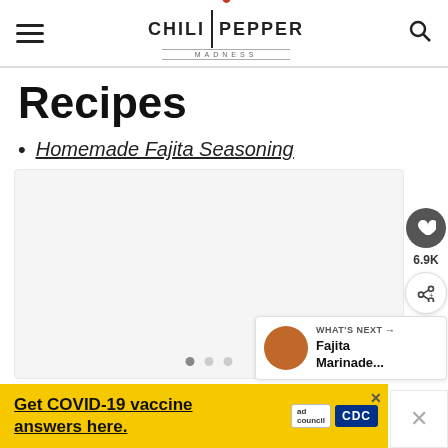[Figure (logo): Chili Pepper Madness logo with hamburger menu and search icon in header]
Recipes
Homemade Fajita Seasoning
[Figure (photo): Recipe image area with slideshow dots, heart/share buttons, and What's Next Fajita Marinade panel]
Get COVID-19 vaccine answers here.